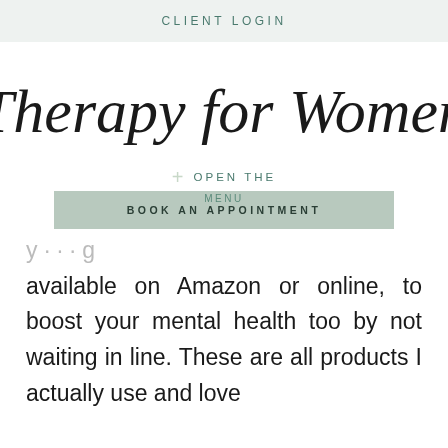CLIENT LOGIN
[Figure (logo): Therapy for Women script logo in black handwritten style]
OPEN THE
BOOK AN APPOINTMENT
MENU
available on Amazon or online, to boost your mental health too by not waiting in line. These are all products I actually use and love